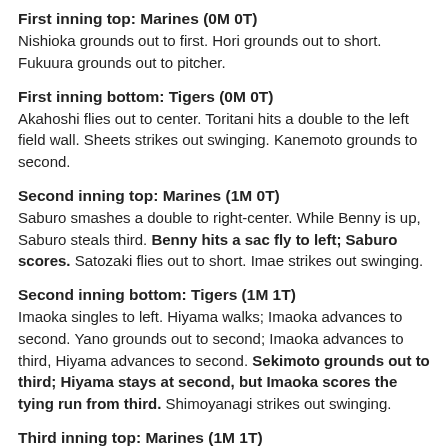First inning top: Marines (0M 0T)
Nishioka grounds out to first. Hori grounds out to short. Fukuura grounds out to pitcher.
First inning bottom: Tigers (0M 0T)
Akahoshi flies out to center. Toritani hits a double to the left field wall. Sheets strikes out swinging. Kanemoto grounds to second.
Second inning top: Marines (1M 0T)
Saburo smashes a double to right-center. While Benny is up, Saburo steals third. Benny hits a sac fly to left; Saburo scores. Satozaki flies out to short. Imae strikes out swinging.
Second inning bottom: Tigers (1M 1T)
Imaoka singles to left. Hiyama walks; Imaoka advances to second. Yano grounds out to second; Imaoka advances to third, Hiyama advances to second. Sekimoto grounds out to third; Hiyama stays at second, but Imaoka scores the tying run from third. Shimoyanagi strikes out swinging.
Third inning top: Marines (1M 1T)